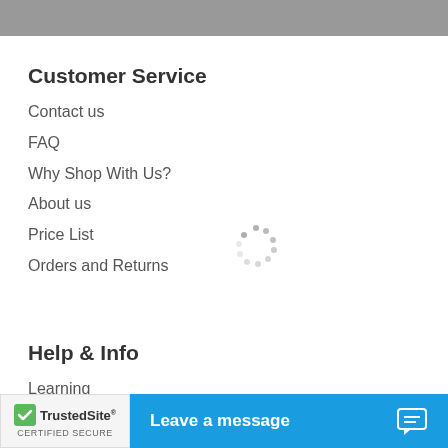Customer Service
Contact us
FAQ
Why Shop With Us?
About us
Price List
Orders and Returns
[Figure (other): Loading spinner animation]
Help & Info
Learning
Loyalty Rewards
Links
[Figure (logo): TrustedSite Certified Secure badge]
Leave a message